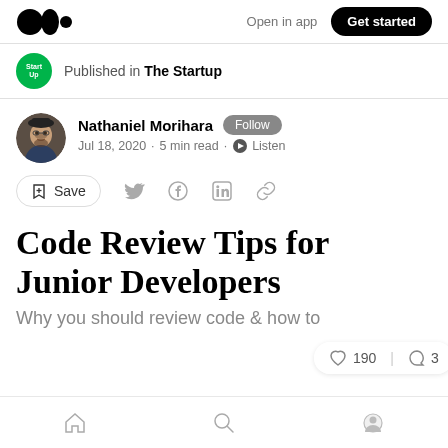Open in app   Get started
Published in The Startup
Nathaniel Morihara  Follow
Jul 18, 2020 · 5 min read · Listen
Save
Code Review Tips for Junior Developers
Why you should review code & how to
190   3
Home  Search  Profile